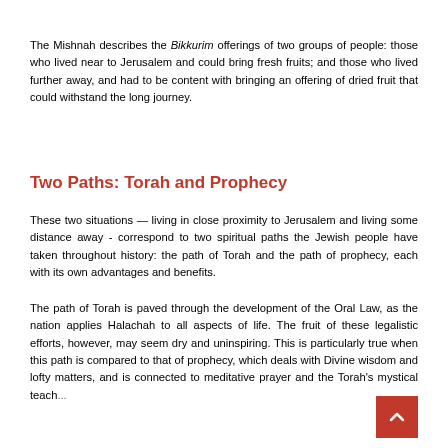The Mishnah describes the Bikkurim offerings of two groups of people: those who lived near to Jerusalem and could bring fresh fruits; and those who lived further away, and had to be content with bringing an offering of dried fruit that could withstand the long journey.
Two Paths: Torah and Prophecy
These two situations — living in close proximity to Jerusalem and living some distance away - correspond to two spiritual paths the Jewish people have taken throughout history: the path of Torah and the path of prophecy, each with its own advantages and benefits.
The path of Torah is paved through the development of the Oral Law, as the nation applies Halachah to all aspects of life. The fruit of these legalistic efforts, however, may seem dry and uninspiring. This is particularly true when this path is compared to that of prophecy, which deals with Divine wisdom and lofty matters, and is connected to meditative prayer and the Torah's mystical teach...